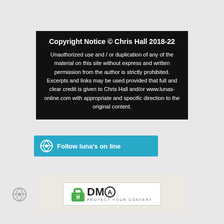Copyright Notice © Chris Hall 2018-22
Unauthorized use and / or duplication of any of the material on this site without express and written permission from the author is strictly prohibited. Excerpts and links may be used provided that full and clear credit is given to Chris Hall and/or www.lunas-online.com with appropriate and specific direction to the original content.
[Figure (logo): DMCA - Protect Your Content badge with green padlock icon]
[Figure (logo): WordPress Follow button: Follow luna's on line]
[Figure (logo): WordPress logo icon at bottom left]